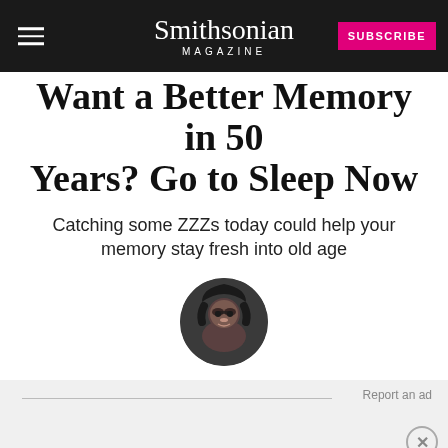Smithsonian MAGAZINE | SUBSCRIBE
Want a Better Memory in 50 Years? Go to Sleep Now
Catching some ZZZs today could help your memory stay fresh into old age
[Figure (photo): Circular author headshot photo of Erin Blakemore, a woman with dark hair and glasses]
Erin Blakemore
Correspondent
January 23, 2015
Report an ad